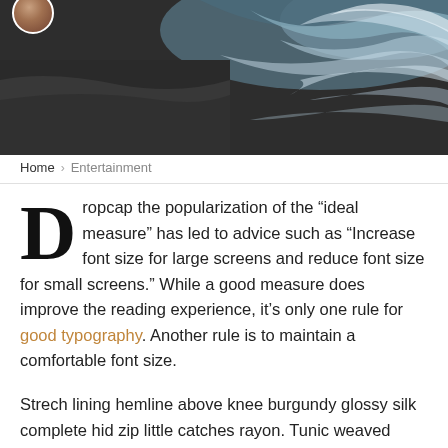[Figure (photo): Aerial view of ocean waves on a dark beach, with teal and white water patterns against dark sand. A small circular avatar/profile photo is partially visible in the top left corner.]
Home > Entertainment
Dropcap the popularization of the “ideal measure” has led to advice such as “Increase font size for large screens and reduce font size for small screens.” While a good measure does improve the reading experience, it’s only one rule for good typography. Another rule is to maintain a comfortable font size.
Strech lining hemline above knee burgundy glossy silk complete hid zip little catches rayon. Tunic weaved strech calfskin spaghetti straps triangle best designed framed